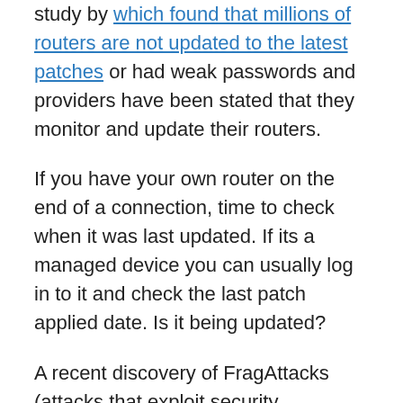study by which found that millions of routers are not updated to the latest patches or had weak passwords and providers have been stated that they monitor and update their routers.
If you have your own router on the end of a connection, time to check when it was last updated. If its a managed device you can usually log in to it and check the last patch applied date. Is it being updated?
A recent discovery of FragAttacks (attacks that exploit security vulnerabilities that affect Wi-Fi devices) have shown that it is possible to steal data from any WiFi network that's not patched, however its not an easy attack to recreate and vendors have been issuing patches to protect against this. This highlights the need for patching and updates to not just your end user device, but network devices as well.